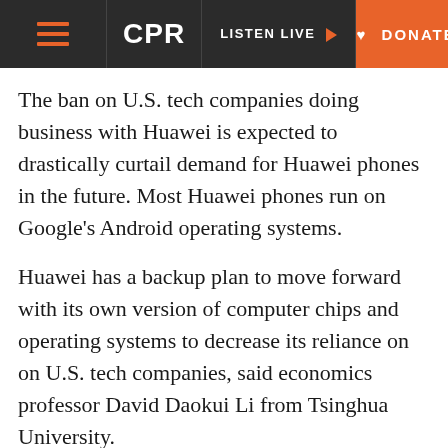CPR | LISTEN LIVE | DONATE
The ban on U.S. tech companies doing business with Huawei is expected to drastically curtail demand for Huawei phones in the future. Most Huawei phones run on Google’s Android operating systems.
Huawei has a backup plan to move forward with its own version of computer chips and operating systems to decrease its reliance on on U.S. tech companies, said economics professor David Daokui Li from Tsinghua University.
Huawei’s Liang also said that in the long term, the company will develop its own operating system similar to Android. But that will take some time.